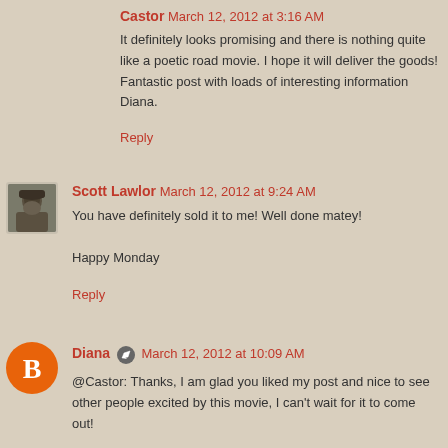Castor  March 12, 2012 at 3:16 AM
It definitely looks promising and there is nothing quite like a poetic road movie. I hope it will deliver the goods! Fantastic post with loads of interesting information Diana.
Reply
[Figure (photo): Black and white avatar photo of Scott Lawlor]
Scott Lawlor  March 12, 2012 at 9:24 AM
You have definitely sold it to me! Well done matey!

Happy Monday
Reply
[Figure (logo): Orange Blogger icon circle with B letter]
Diana  March 12, 2012 at 10:09 AM
@Castor: Thanks, I am glad you liked my post and nice to see other people excited by this movie, I can't wait for it to come out!